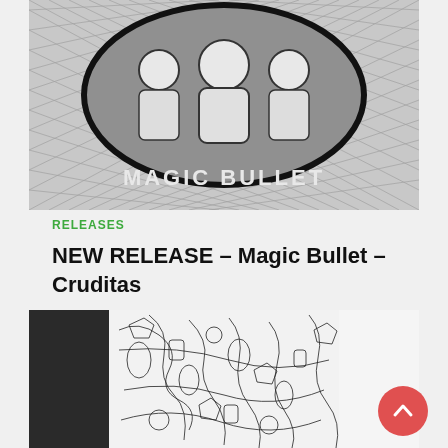[Figure (illustration): Black and white illustration of three astronaut/robot figures sitting together in a circle on a crosshatched background with 'MAGIC BULLET' text at the bottom]
RELEASES
NEW RELEASE – Magic Bullet – Cruditas
[Figure (illustration): Densely detailed black and white line art illustration showing a complex crowd or mechanical scene with many overlapping figures and objects]